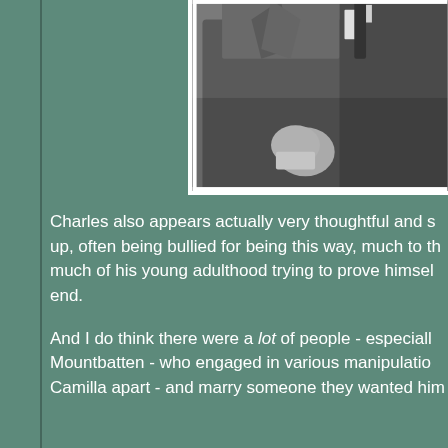[Figure (photo): Black and white photograph of two men in suits, partially visible, cropped at the top and right edges of the frame. One figure appears to be pointing or gesturing.]
Charles also appears actually very thoughtful and sensitive growing up, often being bullied for being this way, much to the... much of his young adulthood trying to prove himself... end.
And I do think there were a lot of people - especially... Mountbatten - who engaged in various manipulations... Camilla apart - and marry someone they wanted him...